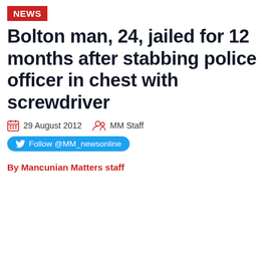NEWS
Bolton man, 24, jailed for 12 months after stabbing police officer in chest with screwdriver
29 August 2012   MM Staff
Follow @MM_newsonline
By Mancunian Matters staff